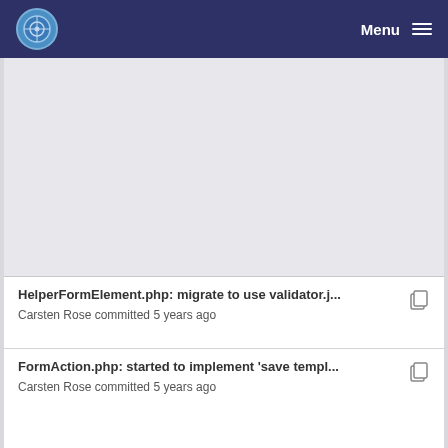Menu
[Figure (other): Advertisement or empty content block]
HelperFormElement.php: migrate to use validator.j... Carsten Rose committed 5 years ago
FormAction.php: started to implement 'save templ... Carsten Rose committed 5 years ago